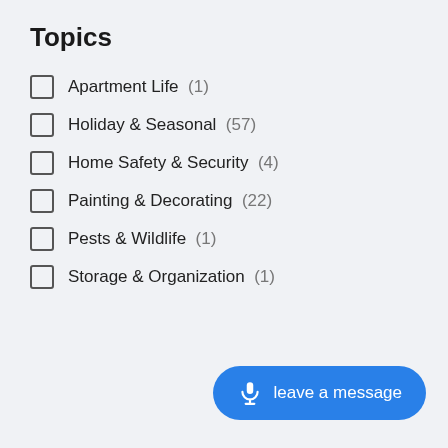Topics
Apartment Life  (1)
Holiday & Seasonal  (57)
Home Safety & Security  (4)
Painting & Decorating  (22)
Pests & Wildlife  (1)
Storage & Organization  (1)
leave a message